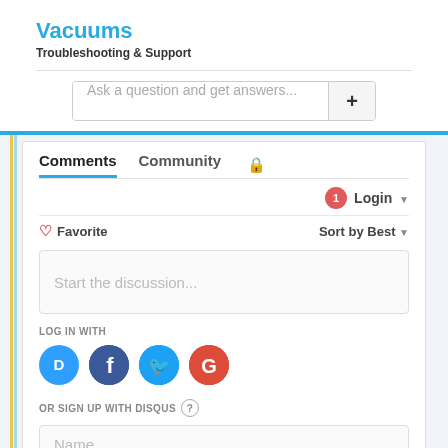Vacuums
Troubleshooting & Support
Ask a question and get answers...
Comments
Community
Login
Favorite
Sort by Best
Start the discussion...
LOG IN WITH
[Figure (screenshot): Social login icons: Disqus (blue circle with D), Facebook (dark blue circle with f), Twitter (light blue circle with bird), Google (red circle with G)]
OR SIGN UP WITH DISQUS
Name